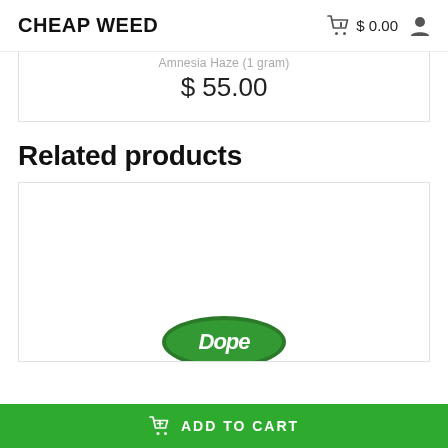CHEAP WEED  $ 0.00
$ 55.00
Related products
[Figure (photo): Related product card showing a Dope-branded green oval logo partially visible at the bottom of a white product card]
ADD TO CART